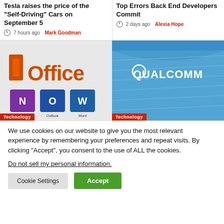Tesla raises the price of the “Self-Driving” Cars on September 5
7 hours ago  Mark Goodman
Top Errors Back End Developers Commit
2 days ago  Alexia Hope
[Figure (photo): Microsoft Office logo with app icons for OneNote, Outlook, Word and more on a light background]
[Figure (photo): Qualcomm building exterior with blue glass facade and white Qualcomm logo against blue sky]
We use cookies on our website to give you the most relevant experience by remembering your preferences and repeat visits. By clicking “Accept”, you consent to the use of ALL the cookies.
Do not sell my personal information.
Cookie Settings  Accept